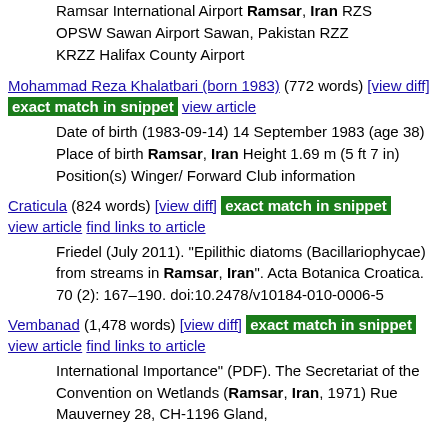Ramsar International Airport Ramsar, Iran RZS OPSW Sawan Airport Sawan, Pakistan RZZ KRZZ Halifax County Airport
Mohammad Reza Khalatbari (born 1983) (772 words) [view diff] exact match in snippet view article
Date of birth (1983-09-14) 14 September 1983 (age 38) Place of birth Ramsar, Iran Height 1.69 m (5 ft 7 in) Position(s) Winger/ Forward Club information
Craticula (824 words) [view diff] exact match in snippet view article find links to article
Friedel (July 2011). "Epilithic diatoms (Bacillariophycae) from streams in Ramsar, Iran". Acta Botanica Croatica. 70 (2): 167–190. doi:10.2478/v10184-010-0006-5
Vembanad (1,478 words) [view diff] exact match in snippet view article find links to article
International Importance" (PDF). The Secretariat of the Convention on Wetlands (Ramsar, Iran, 1971) Rue Mauverney 28, CH-1196 Gland,